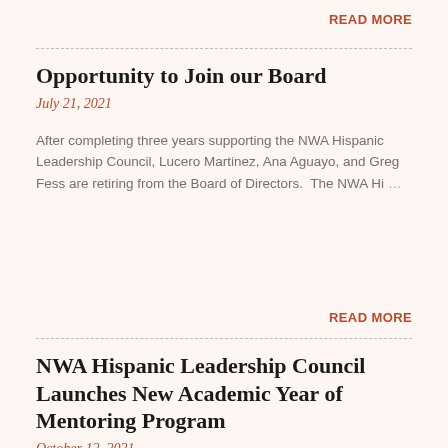READ MORE
Opportunity to Join our Board
July 21, 2021
After completing three years supporting the NWA Hispanic Leadership Council, Lucero Martinez, Ana Aguayo, and Greg Fess are retiring from the Board of Directors.  The NWA Hi…
READ MORE
NWA Hispanic Leadership Council Launches New Academic Year of Mentoring Program
October 12, 2021
BENTONVILLE, Ark.  (October 12, 2021) – The NWA Hispanic